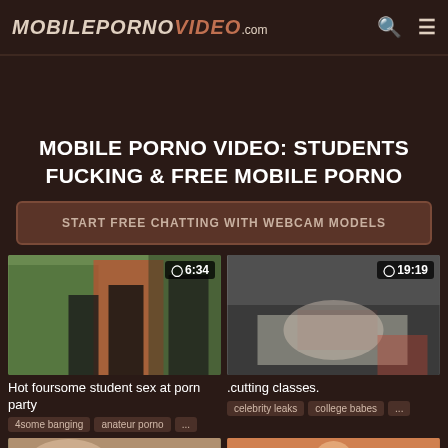MOBILEPORNOVIDEO.com
MOBILE PORNO VIDEO: STUDENTS FUCKING & FREE MOBILE PORNO
START FREE CHATTING WITH WEBCAM MODELS
[Figure (screenshot): Video thumbnail: Hot foursome student sex at porn party, duration 6:34]
Hot foursome student sex at porn party
4some banging   anateur porno   ...
[Figure (screenshot): Video thumbnail: .cutting classes., duration 19:19]
.cutting classes.
celebrity leaks   college babes   ...
[Figure (screenshot): Video thumbnail bottom left, duration 11:05]
[Figure (screenshot): Video thumbnail bottom right, duration 3:11:36]